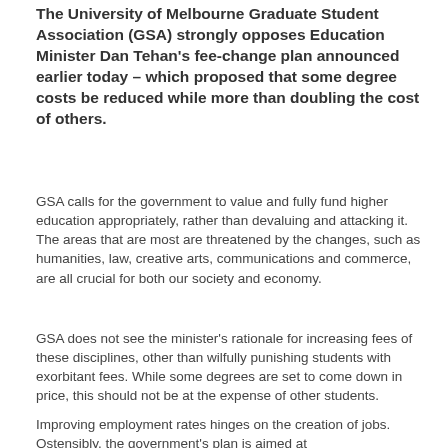The University of Melbourne Graduate Student Association (GSA) strongly opposes Education Minister Dan Tehan's fee-change plan announced earlier today – which proposed that some degree costs be reduced while more than doubling the cost of others.
GSA calls for the government to value and fully fund higher education appropriately, rather than devaluing and attacking it. The areas that are most are threatened by the changes, such as humanities, law, creative arts, communications and commerce, are all crucial for both our society and economy.
GSA does not see the minister's rationale for increasing fees of these disciplines, other than wilfully punishing students with exorbitant fees. While some degrees are set to come down in price, this should not be at the expense of other students.
Improving employment rates hinges on the creation of jobs. Ostensibly, the government's plan is aimed at